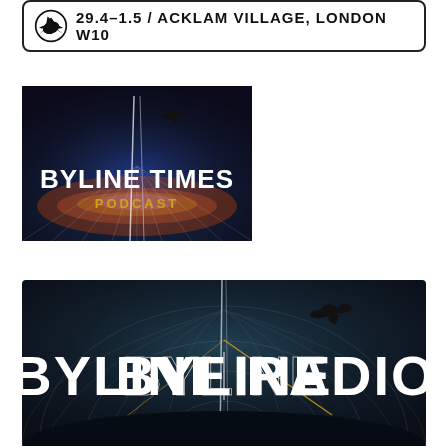[Figure (other): Banner box with bird logo and text: 29.4-1.5 / ACKLAM VILLAGE, LONDON W10]
[Figure (logo): Byline Times Podcast logo image with bird and radiating light rays on dark blue background]
[Figure (logo): Byline Radio logo image with bird and radiating light rays on dark teal/grey background]